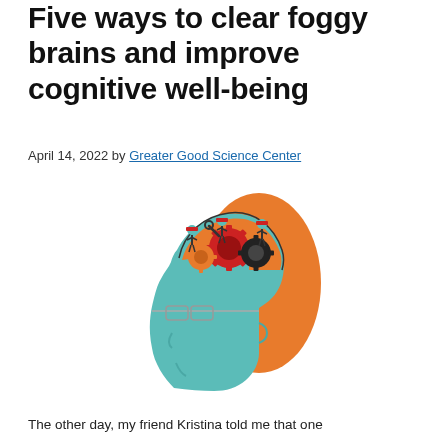Five ways to clear foggy brains and improve cognitive well-being
April 14, 2022 by Greater Good Science Center
[Figure (illustration): Illustration of a side-profile human head in teal/light blue with an open top of the skull. The brain cavity shows workers in hard hats working on red and orange gears/cogs. The back of the head has an orange hair-like shape. The figure wears glasses.]
The other day, my friend Kristina told me that one